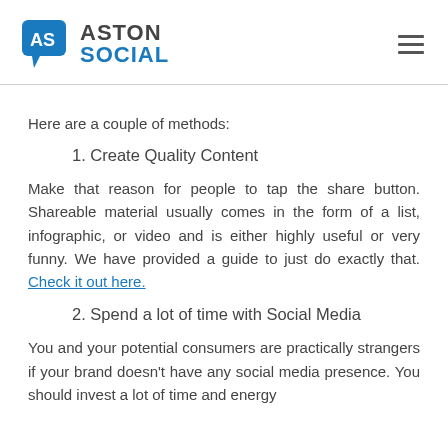[Figure (logo): Aston Social logo with blue speech-bubble icon containing 'AS' and text 'ASTON SOCIAL']
Here are a couple of methods:
1. Create Quality Content
Make that reason for people to tap the share button. Shareable material usually comes in the form of a list, infographic, or video and is either highly useful or very funny. We have provided a guide to just do exactly that. Check it out here.
2. Spend a lot of time with Social Media
You and your potential consumers are practically strangers if your brand doesn't have any social media presence. You should invest a lot of time and energy